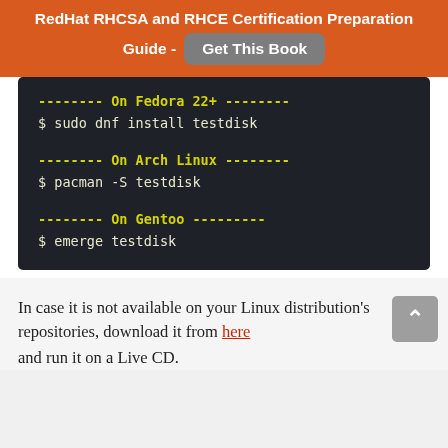RedHat RHCSA and RHCE Certification Preparation Guide - Get This Book
[Figure (screenshot): Dark terminal code block showing installation commands for testdisk on Fedora 22+, Arch Linux, and Gentoo]
In case it is not available on your Linux distribution's repositories, download it from here and run it on a Live CD.